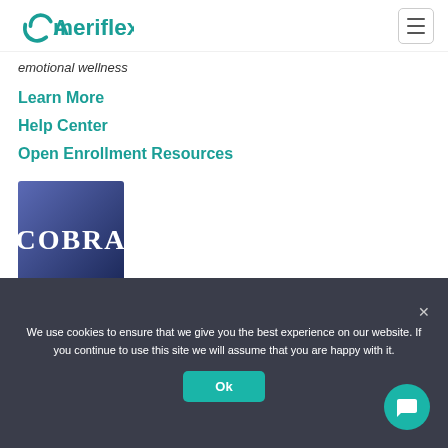Ameriflex
emotional wellness
Learn More
Help Center
Open Enrollment Resources
[Figure (logo): COBRA logo — dark blue/purple gradient square with white COBRA text]
COBRA
We use cookies to ensure that we give you the best experience on our website. If you continue to use this site we will assume that you are happy with it.